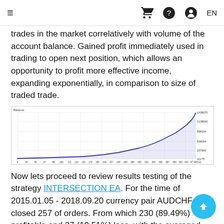≡  🛒  ❓  👤  EN
trades in the market correlatively with volume of the account balance. Gained profit immediately used in trading to open next position, which allows an opportunity to profit more effective income, expanding exponentially, in comparison to size of traded trade.
[Figure (line-chart): Line chart showing exponential growth of account balance over approximately 511 trades. Y-axis shows values from ~41175 at bottom to ~1438075 at top. The line starts nearly flat then curves sharply upward toward the end.]
Now lets proceed to review results testing of the strategy INTERSECTION EA. For the time of 2015.01.05 - 2018.09.20 currency pair AUDCHF was closed 257 of orders. From which 230 (89.49%) profitable and 27 (10.51%) loss, with the averaged value per each 9 profitable trades, 1 loss. This is stable enough result!